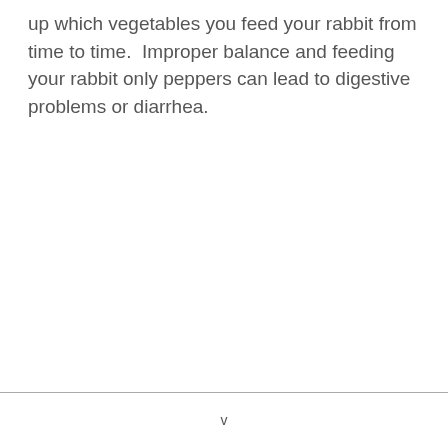up which vegetables you feed your rabbit from time to time.  Improper balance and feeding your rabbit only peppers can lead to digestive problems or diarrhea.
v